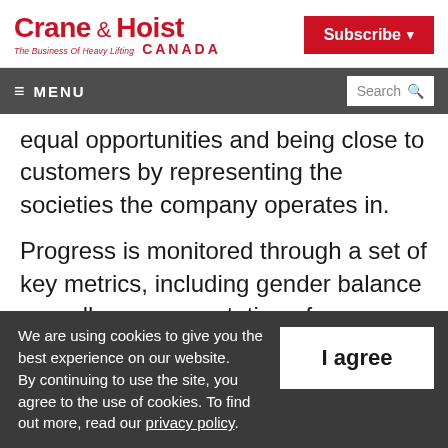Crane & Hoist CANADA — The Business Of Heavy Lifting
≡ MENU | Search
equal opportunities and being close to customers by representing the societies the company operates in.
Progress is monitored through a set of key metrics, including gender balance as well as representation of nationalities and
We are using cookies to give you the best experience on our website. By continuing to use the site, you agree to the use of cookies. To find out more, read our privacy policy.
I agree